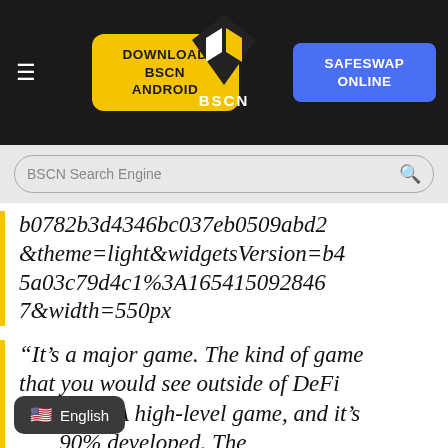DOWNLOAD BSCN ANDROID | BSCN | SAFESWAP ONLINE
BSCN Search Engine
b0782b3d4346bc037eb0509abd2&theme=light&widgetsVersion=b45a03c79d4c1%3A1654150928467&width=550px
“It’s a major game. The kind of game that you would see outside of DeFi or crypto. A high-level game, and it’s 90% developed. The of this game will operate on
English